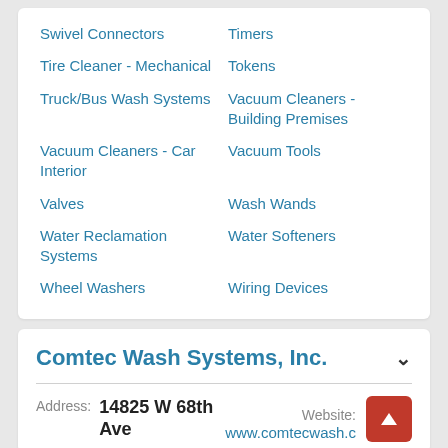Swivel Connectors
Timers
Tire Cleaner - Mechanical
Tokens
Truck/Bus Wash Systems
Vacuum Cleaners - Building Premises
Vacuum Cleaners - Car Interior
Vacuum Tools
Valves
Wash Wands
Water Reclamation Systems
Water Softeners
Wheel Washers
Wiring Devices
Comtec Wash Systems, Inc.
Address: 14825 W 68th Ave
Website: www.comtecwash.c